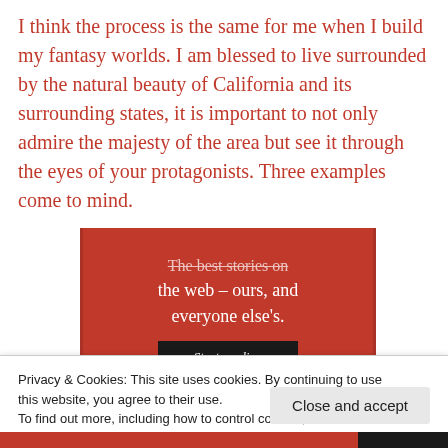I think the process is the same for me when I build my fantasy worlds. I am blessed to live surrounded by the natural beauty of California and its surrounding states, it is important to not only admire the majesty of the area but see it through the eyes of your protagonists. Three examples come to mind.
[Figure (other): Red advertisement banner with white text reading 'The best stories on the web – ours, and everyone else's.' with a black 'Start reading' button]
Privacy & Cookies: This site uses cookies. By continuing to use this website, you agree to their use.
To find out more, including how to control cookies, see here: Cookie Policy
Close and accept